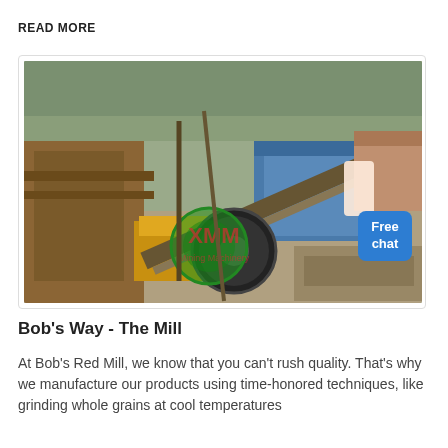READ MORE
[Figure (photo): Aerial/overhead view of an industrial crushing and milling facility with heavy machinery, conveyor belts, yellow and blue equipment, with an XMM watermark logo overlay and a 'Free chat' button in the bottom right corner.]
Bob's Way - The Mill
At Bob's Red Mill, we know that you can't rush quality. That's why we manufacture our products using time-honored techniques, like grinding whole grains at cool temperatures